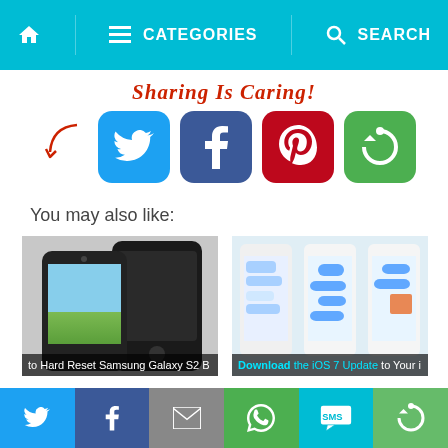Home | Categories | Search
[Figure (screenshot): Sharing is Caring section with social share buttons: Twitter, Facebook, Pinterest, and a circular arrow/share app button]
You may also like:
[Figure (photo): Samsung Galaxy S2 phones image with overlay text: to Hard Reset Samsung Galaxy S2 B]
How to Hard Reset Samsung Galaxy S2 Easily?
[Figure (screenshot): iOS 7 update screenshot with three iPhones showing messages, overlay text: Download the iOS 7 Update to Your i]
How to Get iOS 7 Update to iPhone 5, iPhone 4S, iPad,
Twitter | Facebook | Email | WhatsApp | SMS | Share